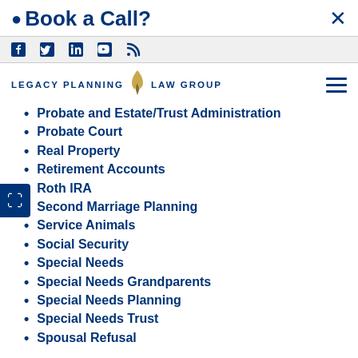Book a Call?
[Figure (screenshot): Social media icons row: Facebook, Twitter, LinkedIn, YouTube, Blog/RSS]
[Figure (logo): Legacy Planning Law Group logo with flame icon]
Probate and Estate/Trust Administration
Probate Court
Real Property
Retirement Accounts
Roth IRA
Second Marriage Planning
Service Animals
Social Security
Special Needs
Special Needs Grandparents
Special Needs Planning
Special Needs Trust
Spousal Refusal